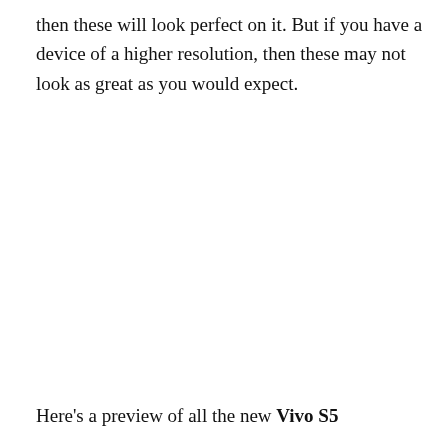then these will look perfect on it. But if you have a device of a higher resolution, then these may not look as great as you would expect.
Here's a preview of all the new Vivo S5